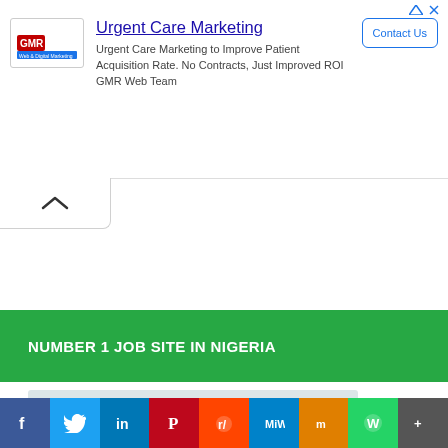[Figure (screenshot): Advertisement banner for Urgent Care Marketing by GMR Web Team. Contains GMR logo, headline 'Urgent Care Marketing', body text 'Urgent Care Marketing to Improve Patient Acquisition Rate. No Contracts, Just Improved ROI GMR Web Team', and a 'Contact Us' button.]
[Figure (screenshot): Collapse/chevron up button below the ad banner]
NUMBER 1 JOB SITE IN NIGERIA
[Figure (screenshot): Job site promotional banner showing 'FIND YOUR DREAM JOB.' text with a logo]
[Figure (screenshot): Social media share bar with buttons for Facebook, Twitter, LinkedIn, Pinterest, Reddit, MeWe, Mix, WhatsApp, and More]